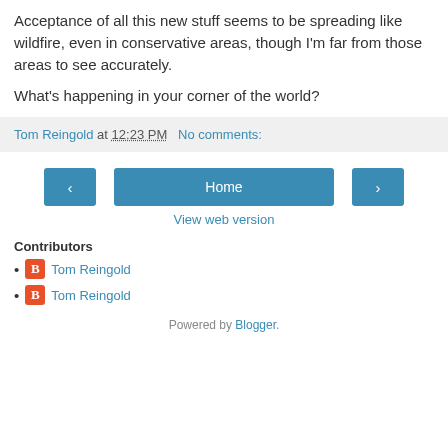Acceptance of all this new stuff seems to be spreading like wildfire, even in conservative areas, though I'm far from those areas to see accurately.

What's happening in your corner of the world?
Tom Reingold at 12:23 PM   No comments:
[Figure (other): Navigation buttons: left arrow, Home, right arrow]
View web version
Contributors
Tom Reingold
Tom Reingold
Powered by Blogger.